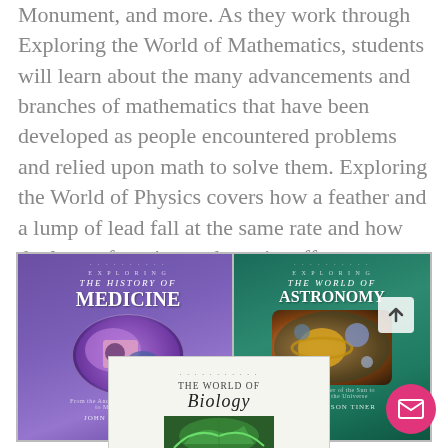Monument, and more. As they work through Exploring the World of Mathematics, students will learn about the many advancements and branches of mathematics that have been developed as people encountered problems and relied upon math to solve them. Exploring the World of Physics covers how a feather and a lump of lead fall at the same rate and how the laws of motion and gravity affect everything from everyday life to launching rockets.
[Figure (photo): Book cover: Exploring The History of Medicine by John Hudson Tiner – purple/violet background with circular art showing medical imagery]
[Figure (photo): Book cover: Exploring The World of Astronomy by John Hudson Tiner – dark teal/green background with planetary imagery]
[Figure (photo): Book cover: Exploring The World of Biology – light background with dotted title lettering and green plant imagery at bottom]